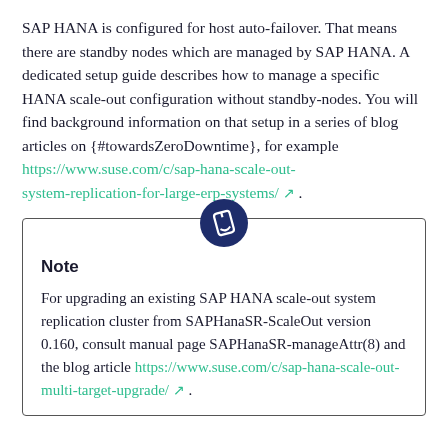SAP HANA is configured for host auto-failover. That means there are standby nodes which are managed by SAP HANA. A dedicated setup guide describes how to manage a specific HANA scale-out configuration without standby-nodes. You will find background information on that setup in a series of blog articles on {#towardsZeroDowntime}, for example https://www.suse.com/c/sap-hana-scale-out-system-replication-for-large-erp-systems/ ↗ .
Note
For upgrading an existing SAP HANA scale-out system replication cluster from SAPHanaSR-ScaleOut version 0.160, consult manual page SAPHanaSR-manageAttr(8) and the blog article https://www.suse.com/c/sap-hana-scale-out-multi-target-upgrade/ ↗ .